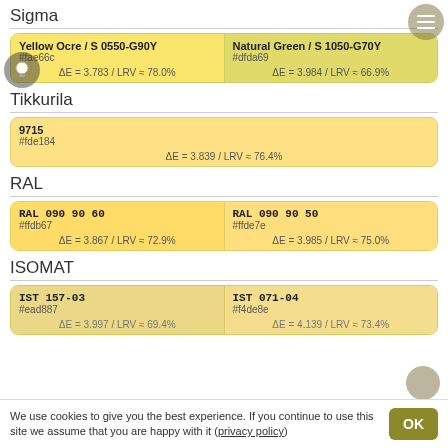Sigma
| Color 1 | Color 2 |
| --- | --- |
| Yellow Ocre / S 0550-G90Y
#fae66c
ΔE = 3.783 / LRV ≈ 78.0% | Natural Green / S 1050-G70Y
#dfda69
ΔE = 3.984 / LRV ≈ 66.9% |
Tikkurila
| 9715
#fde184
ΔE = 3.839 / LRV ≈ 76.4% |
RAL
| Color 1 | Color 2 |
| --- | --- |
| RAL 090 90 60
#ffdb67
ΔE = 3.867 / LRV ≈ 72.9% | RAL 090 90 50
#ffde7e
ΔE = 3.985 / LRV ≈ 75.0% |
ISOMAT
| Color 1 | Color 2 |
| --- | --- |
| IST 157-03
#ead887
ΔE = 3.997 / LRV ≈ 69.4% | IST 071-04
#f4de8e
ΔE = 4.139 / LRV ≈ 73.4% |
We use cookies to give you the best experience. If you continue to use this site we assume that you are happy with it (privacy policy)